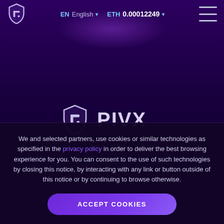EN English ETH 0.00012249
[Figure (logo): PIVX shield logo and PIVX wordmark in white/silver on dark purple background]
We and selected partners, use cookies or similar technologies as specified in the privacy policy in order to deliver the best browsing experience for you. You can consent to the use of such technologies by closing this notice, by interacting with any link or button outside of this notice or by continuing to browse otherwise.
ACCEPT COOKIES